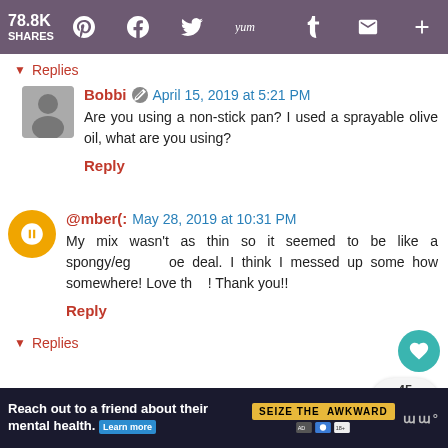78.8K SHARES | social share toolbar
▼ Replies
Bobbi  April 15, 2019 at 5:21 PM
Are you using a non-stick pan? I used a sprayable olive oil, what are you using?
Reply
@mber(:  May 28, 2019 at 10:31 PM
My mix wasn't as thin so it seemed to be like a spongy/eg... oe deal. I think I messed up some how somewhere! Love th... ! Thank you!!
Reply
▼ Replies
Reach out to a friend about their mental health. Learn more | SEIZE THE AWKWARD